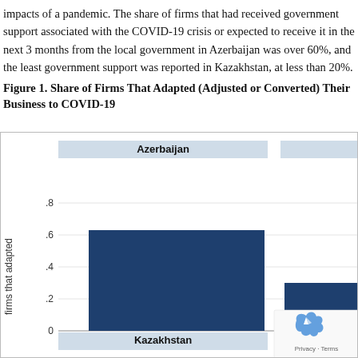impacts of a pandemic. The share of firms that had received government support associated with the COVID-19 crisis or expected to receive it in the next 3 months from the local government in Azerbaijan was over 60%, and the least government support was reported in Kazakhstan, at less than 20%.
Figure 1. Share of Firms That Adapted (Adjusted or Converted) Their Business to COVID-19
[Figure (bar-chart): Share of Firms That Adapted (Adjusted or Converted) Their Business to COVID-19]